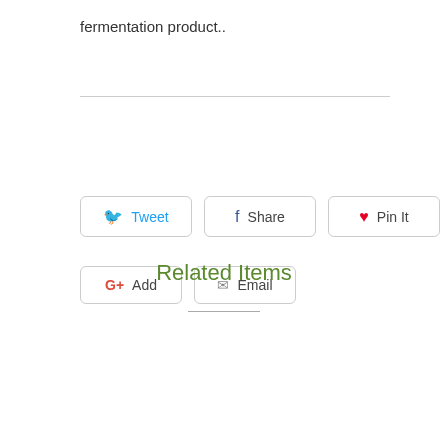fermentation product..
[Figure (other): Social sharing buttons: Tweet, Share, Pin It, G+ Add, Email]
Related Items
[Figure (other): Two empty product card placeholders side by side]